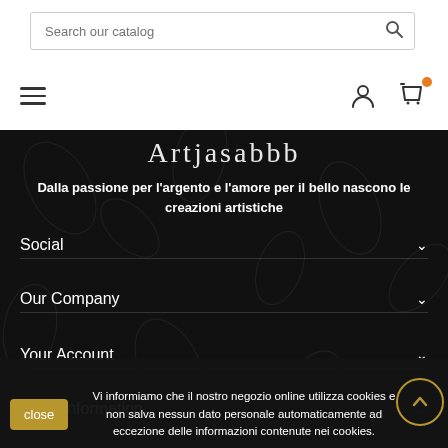[Figure (screenshot): Search bar with placeholder text 'Search our catalog' and a magnifying glass icon on the right]
[Figure (screenshot): Navigation row with hamburger menu icon on the left and user account and shopping bag icons on the right (shopping bag has orange notification dot)]
[Figure (illustration): Dark background with botanical leaf patterns and cursive brand name text at top]
Dalla passione per l'argento e l'amore per il bello nascono le creazioni artistiche
Social
Our Company
Your Account
Store Information
Vi informiamo che il nostro negozio online utilizza cookies e non salva nessun dato personale automaticamente ad eccezione delle informazioni contenute nei cookies.